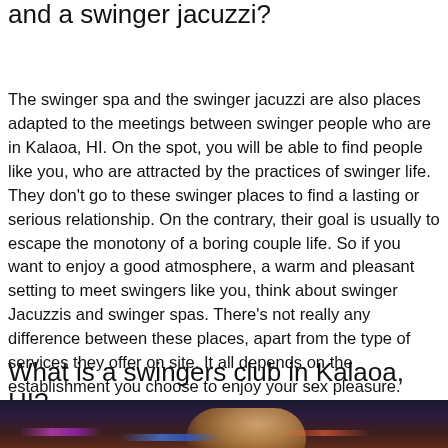and a swinger jacuzzi?
The swinger spa and the swinger jacuzzi are also places adapted to the meetings between swinger people who are in Kalaoa, HI. On the spot, you will be able to find people like you, who are attracted by the practices of swinger life. They don't go to these swinger places to find a lasting or serious relationship. On the contrary, their goal is usually to escape the monotony of a boring couple life. So if you want to enjoy a good atmosphere, a warm and pleasant setting to meet swingers like you, think about swinger Jacuzzis and swinger spas. There's not really any difference between these places, apart from the type of services they offer on site. It all depends on the establishment you choose to enjoy your sex pleasure.
What is a swingers club in Kalaoa, HI?
[Figure (photo): A woman with blonde hair illuminated by colorful club lights (purple, blue, orange) in a dark nightclub setting]